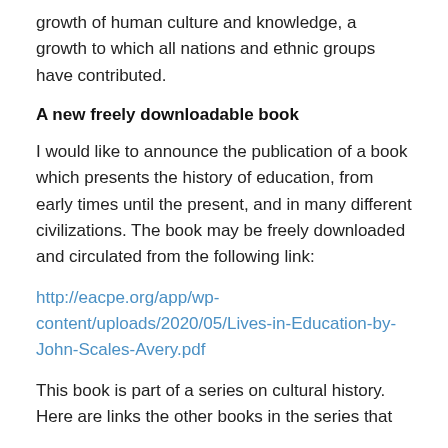growth of human culture and knowledge, a growth to which all nations and ethnic groups have contributed.
A new freely downloadable book
I would like to announce the publication of a book which presents the history of education, from early times until the present, and in many different civilizations. The book may be freely downloaded and circulated from the following link:
http://eacpe.org/app/wp-content/uploads/2020/05/Lives-in-Education-by-John-Scales-Avery.pdf
This book is part of a series on cultural history. Here are links the other books in the series that